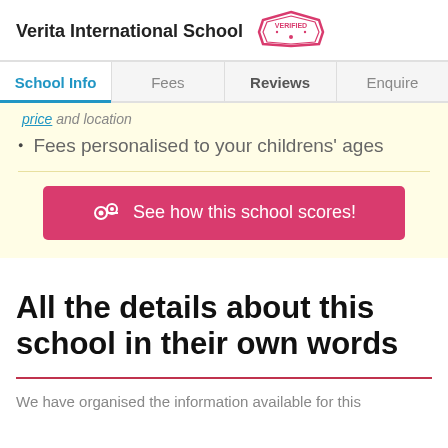Verita International School VERIFIED
School Info | Fees | Reviews | Enquire
price and location
Fees personalised to your childrens' ages
[Figure (other): Red button: See how this school scores!]
All the details about this school in their own words
We have organised the information available for this